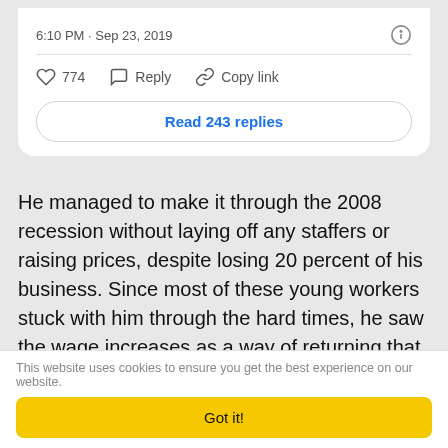6:10 PM · Sep 23, 2019
774   Reply   Copy link
Read 243 replies
He managed to make it through the 2008 recession without laying off any staffers or raising prices, despite losing 20 percent of his business. Since most of these young workers stuck with him through the hard times, he saw the wage increases as a way of returning that loyalty—even if it meant slashing his salary from $1 million to the same $70K per year.
This website uses cookies to ensure you get the best experience on our website.
Got it!